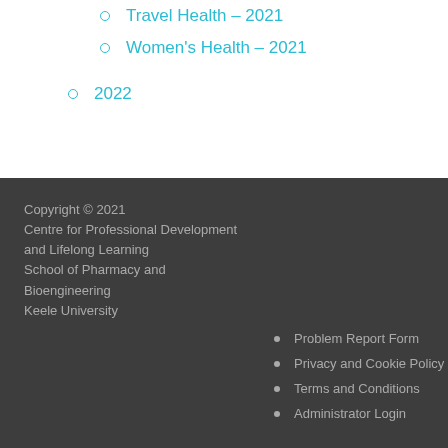Travel Health – 2021
Women's Health – 2021
2022
Copyright © 2021
Centre for Professional Development and Lifelong Learning
School of Pharmacy and Bioengineering
Keele University
Problem Report Form
Privacy and Cookie Policy
Terms and Conditions
Administrator Login